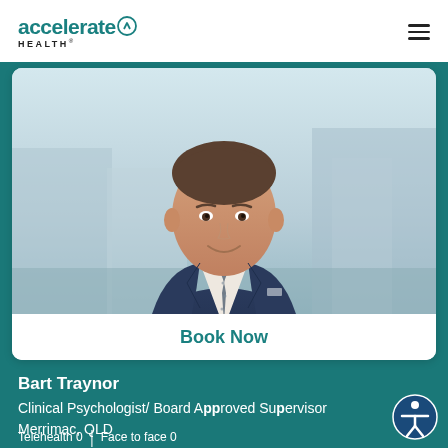[Figure (logo): Accelerate Health logo with teal text and arrow icon]
[Figure (photo): Professional headshot of Bart Traynor, a man in a dark navy suit and patterned tie, smiling, with blurred outdoor building background]
Book Now
Bart Traynor
Clinical Psychologist/ Board Approved Supervisor
Merrimac, QLD
Telehealth 0 | Face to face 0